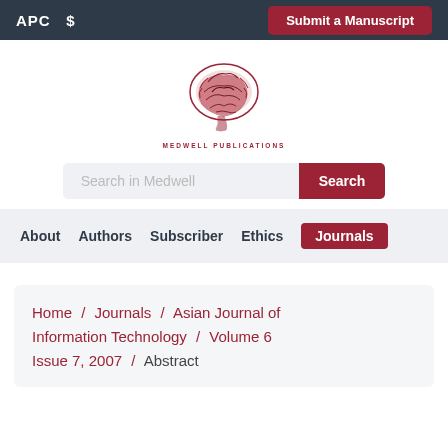APC $   Submit a Manuscript
[Figure (logo): Medwell Publications brain logo with red illustrated brain and 'MEDWELL PUBLICATIONS' text below]
Search in Medwell  Search
About   Authors   Subscriber   Ethics   Journals
Home / Journals / Asian Journal of Information Technology / Volume 6 Issue 7, 2007 / Abstract